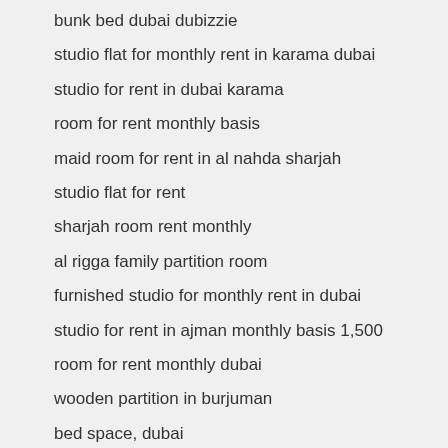bunk bed dubai dubizzie
studio flat for monthly rent in karama dubai
studio for rent in dubai karama
room for rent monthly basis
maid room for rent in al nahda sharjah
studio flat for rent
sharjah room rent monthly
al rigga family partition room
furnished studio for monthly rent in dubai
studio for rent in ajman monthly basis 1,500
room for rent monthly dubai
wooden partition in burjuman
bed space, dubai
mirdif monthly rent
fully furnished studio for monthly rent in mankhool
cheap room for rent in dubai
studio for rent in dubai
cheap family room for rent in bur dubai